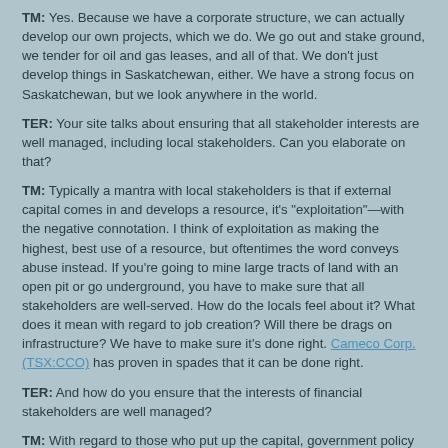TM: Yes. Because we have a corporate structure, we can actually develop our own projects, which we do. We go out and stake ground, we tender for oil and gas leases, and all of that. We don't just develop things in Saskatchewan, either. We have a strong focus on Saskatchewan, but we look anywhere in the world.
TER: Your site talks about ensuring that all stakeholder interests are well managed, including local stakeholders. Can you elaborate on that?
TM: Typically a mantra with local stakeholders is that if external capital comes in and develops a resource, it's "exploitation"—with the negative connotation. I think of exploitation as making the highest, best use of a resource, but oftentimes the word conveys abuse instead. If you're going to mine large tracts of land with an open pit or go underground, you have to make sure that all stakeholders are well-served. How do the locals feel about it? What does it mean with regard to job creation? Will there be drags on infrastructure? We have to make sure it's done right. Cameco Corp. (TSX:CCO) has proven in spades that it can be done right.
TER: And how do you ensure that the interests of financial stakeholders are well managed?
TM: With regard to those who put up the capital, government policy fixed a lot of that internally already. Most people aren't aware of it, but PotashCorp (NYSE/TSX:POT)—one of the most successful companies in the world and certainly the most successful potash mining company in the world—was created through legislation that virtually expropriated half the industry. That was unwound when Potash was taken public again in the 1980s, but it's probably the best example of how badly Saskatchewan ever treated any financial stakeholder. We're not going back there.
The best way to treat financial stakeholders is to have their dollars well-